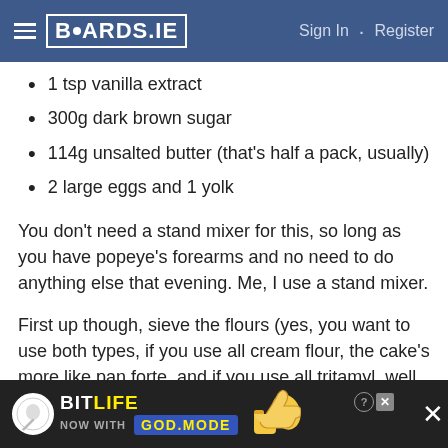BOARDS.IE  Sign In · Register
1 tsp vanilla extract
300g dark brown sugar
114g unsalted butter (that's half a pack, usually)
2 large eggs and 1 yolk
You don't need a stand mixer for this, so long as you have popeye's forearms and no need to do anything else that evening. Me, I use a stand mixer.
First up though, sieve the flours (yes, you want to use both types, if you use all cream flour, the cake's more like pan forte, and if you use all tritamyl, well, there's no gluten so… well I don't know what you'd get, but I wouldn't fancy cleaning up the mess afterwards 🙁 ), together
[Figure (screenshot): BitLife advertisement banner with 'NOW WITH GOD MODE' text, thumbs up icon, and close button]